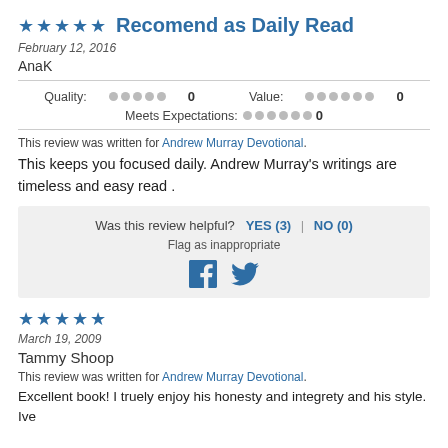★★★★★ Recomend as Daily Read
February 12, 2016
AnaK
Quality: ●●●●● 0   Value: ●●●●●● 0   Meets Expectations: ●●●●●● 0
This review was written for Andrew Murray Devotional.
This keeps you focused daily. Andrew Murray's writings are timeless and easy read .
Was this review helpful? YES (3) | NO (0)
Flag as inappropriate
★★★★★
March 19, 2009
Tammy Shoop
This review was written for Andrew Murray Devotional.
Excellent book! I truely enjoy his honesty and integrety and his style. Ive